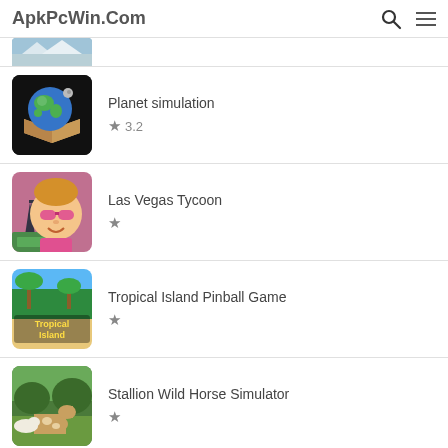ApkPcWin.Com
[Figure (screenshot): Partial app thumbnail at top (partially visible, appears to be a winter/landscape scene)]
[Figure (illustration): Planet simulation app icon — globe with Earth sitting on a cardboard box, black background]
Planet simulation
★ 3.2
[Figure (illustration): Las Vegas Tycoon app icon — cartoon character with pink sunglasses, pink shirt, Eiffel Tower and money in background]
Las Vegas Tycoon
★
[Figure (illustration): Tropical Island Pinball Game app icon — tropical beach scene with 'Tropical Island' text overlay]
Tropical Island Pinball Game
★
[Figure (illustration): Stallion Wild Horse Simulator app icon — horses in a field with green trees]
Stallion Wild Horse Simulator
★